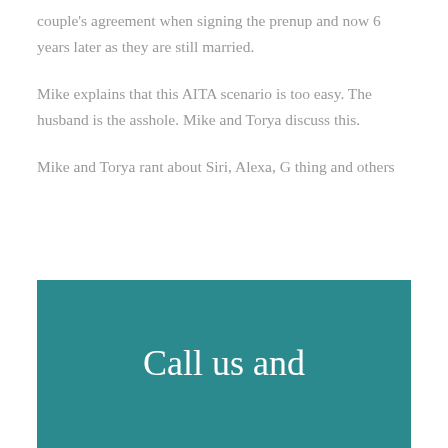couple's agreement when signing the prenup and now 6 years later as they are still married.
Mike explains that this AITA scenario is too easy. The husband is the asshole. Mike and Torya discuss this.
Mike and Torya rant about Siri, Alexa, G thing and others
Call us and